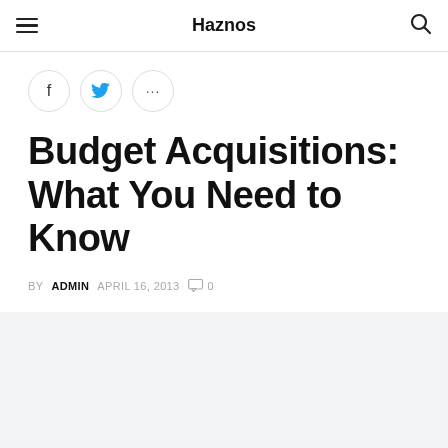Haznos
[Figure (other): Social share buttons: Facebook (f), Twitter bird icon, and ellipsis (...)]
Budget Acquisitions: What You Need to Know
BY ADMIN   APRIL 16, 2013   0